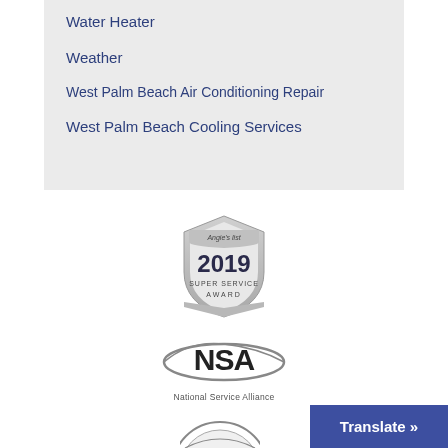Water Heater
Weather
West Palm Beach Air Conditioning Repair
West Palm Beach Cooling Services
[Figure (logo): Angie's List 2019 Super Service Award badge - shield shaped silver badge with text]
[Figure (logo): NSA National Service Alliance logo with swoosh ellipse around letters NSA]
[Figure (logo): American Technician Excellence partial logo/badge, partially visible at bottom]
Translate »